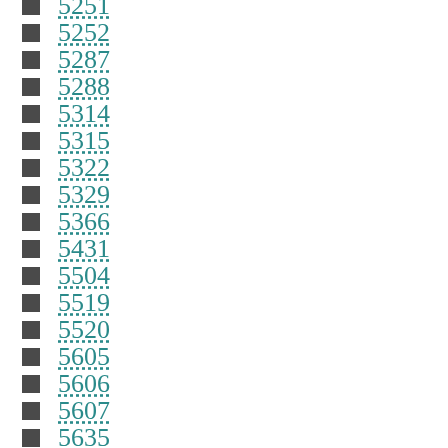5251
5252
5287
5288
5314
5315
5322
5329
5366
5431
5504
5519
5520
5605
5606
5607
5635